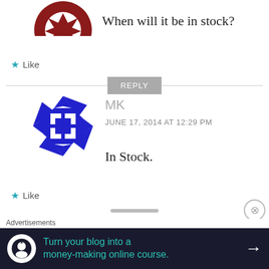[Figure (logo): Partial red decorative circular avatar icon (top portion visible) for first commenter]
When will it be in stock?
★ Like
REPLY
[Figure (logo): Blue and white geometric/checkerboard circular avatar icon for user MK]
MK
JUNE 17, 2014 AT 12:29 PM
In Stock.
★ Like
Advertisements
Turn your blog into a money-making online course.